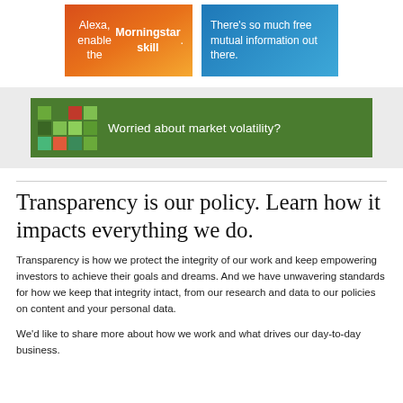[Figure (infographic): Orange gradient banner reading 'Alexa, enable the Morningstar skill.' with bold Morningstar text]
[Figure (infographic): Blue gradient banner reading 'There's so much free mutual information out there.']
[Figure (infographic): Green banner with colored grid icon and text 'Worried about market volatility?']
Transparency is our policy. Learn how it impacts everything we do.
Transparency is how we protect the integrity of our work and keep empowering investors to achieve their goals and dreams. And we have unwavering standards for how we keep that integrity intact, from our research and data to our policies on content and your personal data.
We'd like to share more about how we work and what drives our day-to-day business.